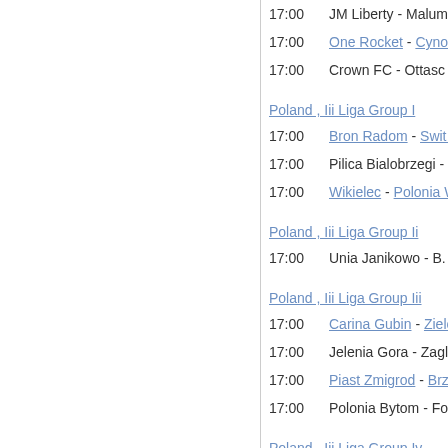17:00   JM Liberty - Malumfa
17:00   One Rocket - Cynos
17:00   Crown FC - Ottasc
Poland , Iii Liga Group I
17:00   Bron Radom - Swit Maz
17:00   Pilica Bialobrzegi - Sokol Ale
17:00   Wikielec - Polonia War
Poland , Iii Liga Group Ii
17:00   Unia Janikowo - B. Go
Poland , Iii Liga Group Iii
17:00   Carina Gubin - Zielona
17:00   Jelenia Gora - Zagleb
17:00   Piast Zmigrod - Brz
17:00   Polonia Bytom - Foto-Hig
Poland , Iii Liga Group Iv
17:00   Czarni Polaniec - Biala P
17:00   Orleta Radzy - Gro